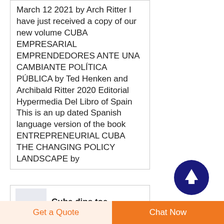March 12 2021 by Arch Ritter I have just received a copy of our new volume CUBA EMPRESARIAL EMPRENDEDORES ANTE UNA CAMBIANTE POLÍTICA PÚBLICA by Ted Henken and Archibald Ritter 2020 Editorial Hypermedia Del Libro of Spain This is an up dated Spanish language version of the book ENTREPRENEURIAL CUBA THE CHANGING POLICY LANDSCAPE by
[Figure (other): Circular dark navy blue scroll-to-top button with white upward arrow icon]
[Figure (other): Thumbnail image preview for article 'Cuba dips toe' with small chart/graph icon]
Cuba dips toe
Get a Quote
Chat Now